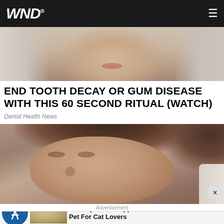WND
[Figure (photo): Cropped photo of a person with gray/white hair, face partially visible from nose down, light colored top]
END TOOTH DECAY OR GUM DISEASE WITH THIS 60 SECOND RITUAL (WATCH)
Dental Health News
[Figure (photo): Close-up photo of a middle-aged woman with brown hair looking downward, appears to be examining or doing something with her mouth/teeth, with a gloved hand visible at right edge]
Advertisement
Its Leopard-like Appearance Makes It A Desired Pet For Cat Lovers